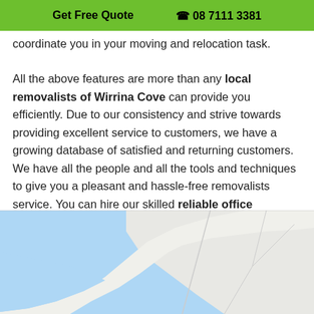Get Free Quote  ☎ 08 7111 3381
coordinate you in your moving and relocation task.
All the above features are more than any local removalists of Wirrina Cove can provide you efficiently. Due to our consistency and strive towards providing excellent service to customers, we have a growing database of satisfied and returning customers. We have all the people and all the tools and techniques to give you a pleasant and hassle-free removalists service. You can hire our skilled reliable office removalists in Ascot Park Cove at an affordable cost.
[Figure (map): A Google Maps screenshot showing a coastal area with blue water and light-colored landmass with road lines.]